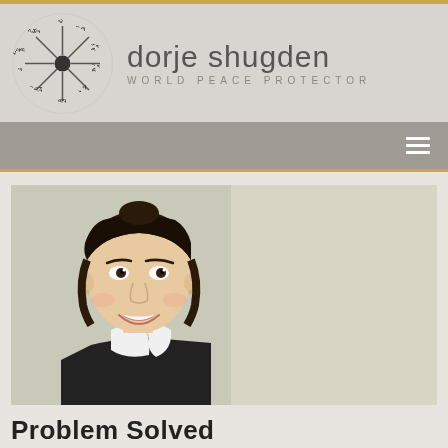[Figure (logo): Dorje Shugden website logo: circular Tibetan script emblem with 'dorje shugden' text and 'WORLD PEACE PROTECTOR' subtitle]
[Figure (photo): Young Asian woman smiling, wearing a black top with a white scarf/shawl, photographed against a beige/cream background]
Problem Solved